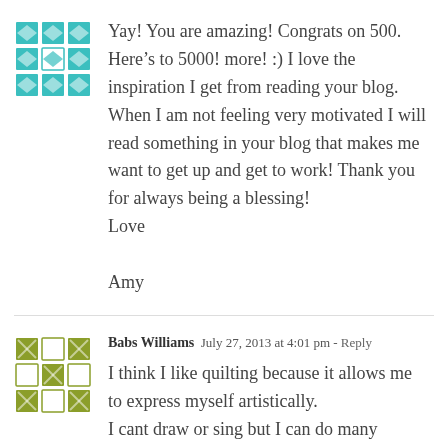[Figure (illustration): Teal/cyan quilting pattern avatar icon]
Yay! You are amazing! Congrats on 500. Here's to 5000! more! :) I love the inspiration I get from reading your blog. When I am not feeling very motivated I will read something in your blog that makes me want to get up and get to work! Thank you for always being a blessing!
Love
Amy
[Figure (illustration): Olive/green quilting pattern avatar icon]
Babs Williams  July 27, 2013 at 4:01 pm - Reply
I think I like quilting because it allows me to express myself artistically.
I cant draw or sing but I can do many wonderful and creative projects with